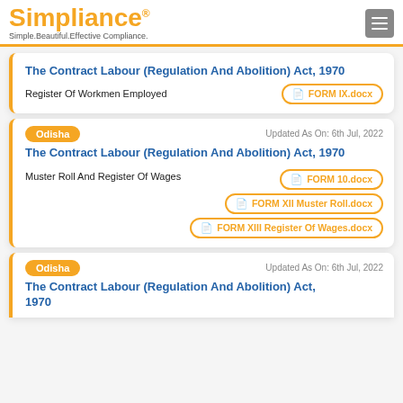Simpliance® Simple.Beautiful.Effective Compliance.
The Contract Labour (Regulation And Abolition) Act, 1970
Register Of Workmen Employed
FORM IX.docx
Odisha
Updated As On: 6th Jul, 2022
The Contract Labour (Regulation And Abolition) Act, 1970
Muster Roll And Register Of Wages
FORM 10.docx
FORM XII Muster Roll.docx
FORM XIII Register Of Wages.docx
Odisha
Updated As On: 6th Jul, 2022
The Contract Labour (Regulation And Abolition) Act, 1970